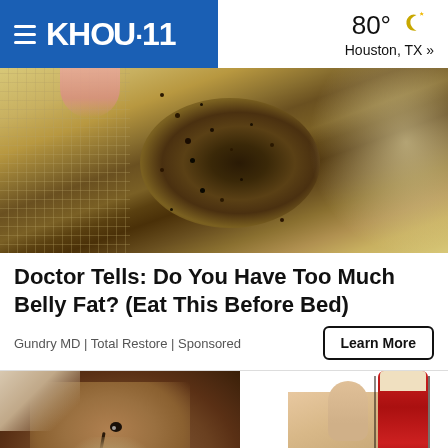KHOU·11 | 80° Houston, TX »
[Figure (photo): Close-up photo of a dirty or moldy laundry/kitchen filter or mesh strainer being peeled back, showing dark spots and residue on a yellowish surface]
Doctor Tells: Do You Have Too Much Belly Fat? (Eat This Before Bed)
Gundry MD | Total Restore | Sponsored
[Figure (illustration): Illustration of a fluffy brown dog and a hand holding a red brush/comb, cropped at bottom of page]